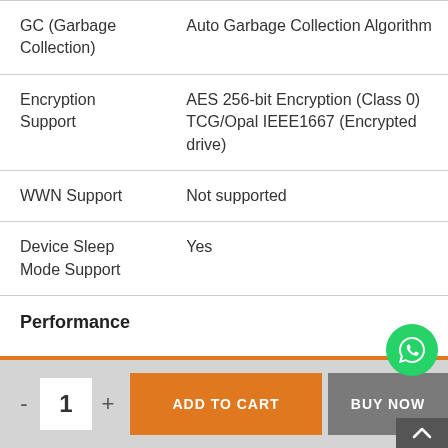| Feature | Value |
| --- | --- |
| GC (Garbage Collection) | Auto Garbage Collection Algorithm |
| Encryption Support | AES 256-bit Encryption (Class 0) TCG/Opal IEEE1667 (Encrypted drive) |
| WWN Support | Not supported |
| Device Sleep Mode Support | Yes |
Performance
- 1 + ADD TO CART BUY NOW